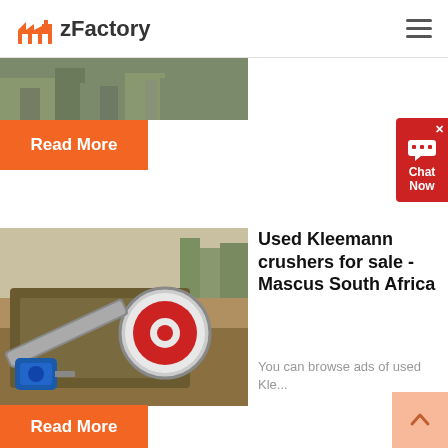zFactory
[Figure (photo): Partial industrial/factory scene image at top of first article card]
Read More
[Figure (screenshot): Chat Now widget with speech bubble icon, red background]
[Figure (photo): Used Kleemann crusher machine photograph - industrial jaw crusher with blue motor and red/white wheel]
Used Kleemann crushers for sale - Mascus South Africa
You can browse ads of used Kle...
Read More